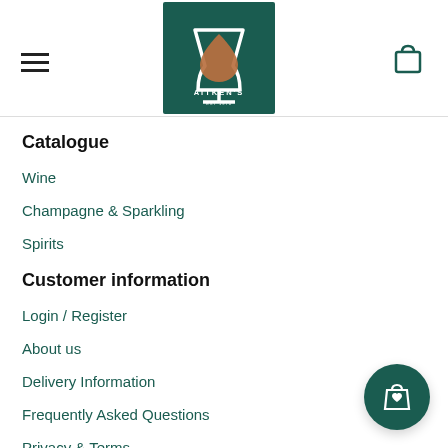[Figure (logo): Aitken's logo on dark green background with wine glass and teardrop shape]
Catalogue
Wine
Champagne & Sparkling
Spirits
Customer information
Login / Register
About us
Delivery Information
Frequently Asked Questions
Privacy & Terms